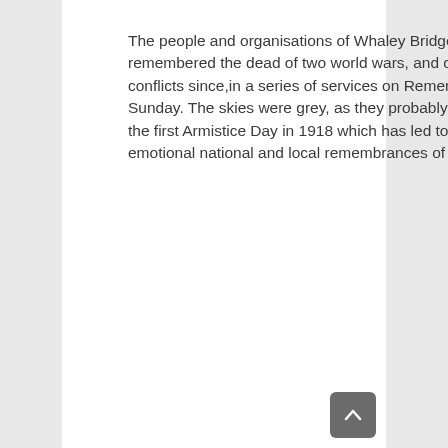The people and organisations of Whaley Bridge remembered the dead of two world wars, and other conflicts since,in a series of services on Remembrance Sunday. The skies were grey, as they probably were on the first Armistice Day in 1918 which has led to the emotional national and local remembrances of today.